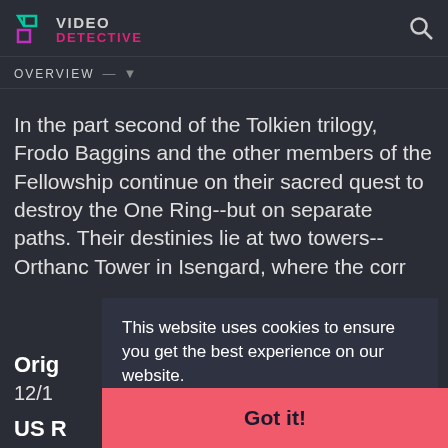VIDEO DETECTIVE
OVERVIEW
In the part second of the Tolkien trilogy, Frodo Baggins and the other members of the Fellowship continue on their sacred quest to destroy the One Ring--but on separate paths. Their destinies lie at two towers--Orthanc Tower in Isengard, where the corr
This website uses cookies to ensure you get the best experience on our website.
Learn more
Orig
12/1
US R
Got it!